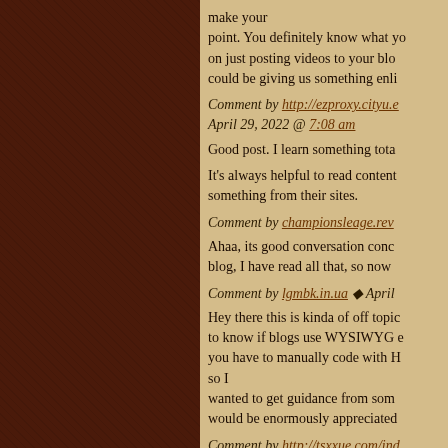make your point. You definitely know what you on just posting videos to your blog, could be giving us something enli
Comment by http://ezproxy.cityu.e… April 29, 2022 @ 7:08 am
Good post. I learn something tota
It's always helpful to read content something from their sites.
Comment by championsleage.rev…
Ahaa, its good conversation conc blog, I have read all that, so now
Comment by lgmbk.in.ua ◆ April
Hey there this is kinda of off topic to know if blogs use WYSIWYG e you have to manually code with H so I wanted to get guidance from som would be enormously appreciated
Comment by http://tsxxue.com/ind… 7:18 am
Piece of writing writing is also a fu after that you can write or else it is
Comment by anotepad.com ◆ Ap